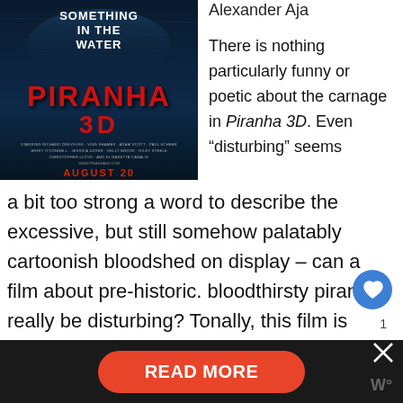[Figure (photo): Movie poster for Piranha 3D showing dark underwater scene with text 'Something in the Water', 'Piranha 3D' in red letters, cast credits, and 'August 20' release date]
Alexander Aja
There is nothing particularly funny or poetic about the carnage in Piranha 3D. Even “disturbing” seems a bit too strong a word to describe the excessive, but still somehow palatably cartoonish bloodshed on display – can a film about pre-historic. bloodthirsty piranha really be disturbing? Tonally, this film is nearly impossible... it is part of...
READ MORE